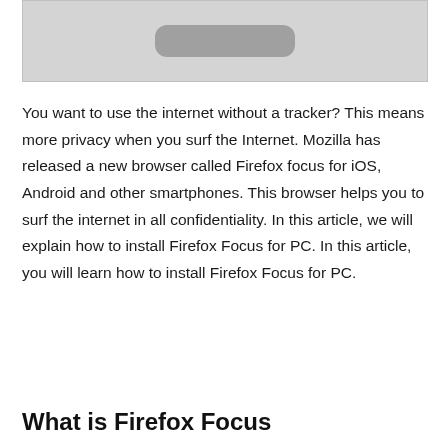[Figure (screenshot): A grayscale screenshot showing a rounded rectangle UI element (like a button or device graphic) on a light gray background.]
You want to use the internet without a tracker? This means more privacy when you surf the Internet. Mozilla has released a new browser called Firefox focus for iOS, Android and other smartphones. This browser helps you to surf the internet in all confidentiality. In this article, we will explain how to install Firefox Focus for PC. In this article, you will learn how to install Firefox Focus for PC.
What is Firefox Focus